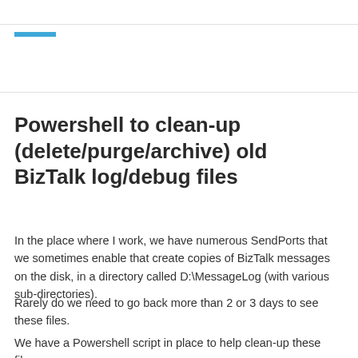Powershell to clean-up (delete/purge/archive) old BizTalk log/debug files
In the place where I work, we have numerous SendPorts that we sometimes enable that create copies of BizTalk messages on the disk, in a directory called D:\MessageLog (with various sub-directories).
Rarely do we need to go back more than 2 or 3 days to see these files.
We have a Powershell script in place to help clean-up these files.